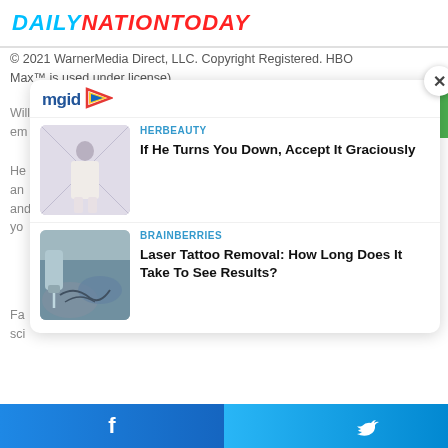DAILYNATIONTODAY
© 2021 WarnerMedia Direct, LLC. Copyright Registered. HBO Max™ is used under license)
Willie's death was confirmed by his son Nathen in an em
He an and have been able to accomplish so much. I'm so proud of yo
Fa sci
[Figure (screenshot): mgid content recommendation widget with close button, showing two sponsored article cards: 1) HERBEAUTY - If He Turns You Down, Accept It Graciously (woman in white outfit image), 2) BRAINBERRIES - Laser Tattoo Removal: How Long Does It Take To See Results? (tattoo removal image)]
[Figure (infographic): Bottom social sharing bar with Facebook and Twitter icons on blue gradient background]